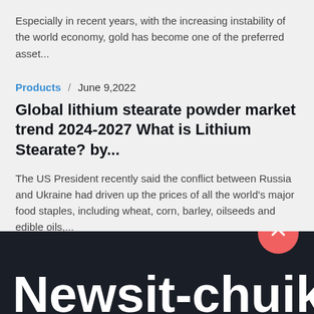Especially in recent years, with the increasing instability of the world economy, gold has become one of the preferred asset...
Products / June 9,2022
Global lithium stearate powder market trend 2024-2027 What is Lithium Stearate? by...
The US President recently said the conflict between Russia and Ukraine had driven up the prices of all the world's major food staples, including wheat, corn, barley, oilseeds and edible oils,...
Newsit-chuiko